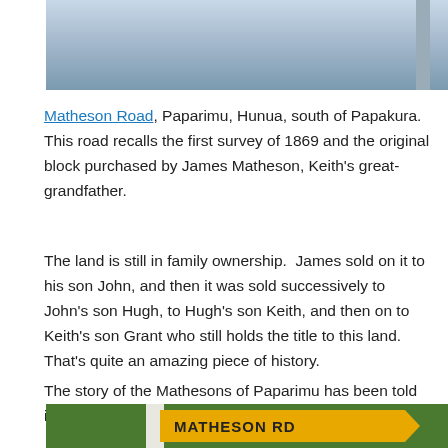[Figure (photo): Top portion of a photo showing cloudy sky and a pole, cropped at top of page]
Matheson Road, Paparimu, Hunua, south of Papakura.  This road recalls the first survey of 1869 and the original block purchased by James Matheson, Keith's great-grandfather.
The land is still in family ownership.  James sold on it to his son John, and then it was sold successively to John's son Hugh, to Hugh's son Keith, and then on to Keith's son Grant who still holds the title to this land.  That's quite an amazing piece of history.
The story of the Mathesons of Paparimu has been told in a book.
[Figure (photo): Photo of a yellow arrow-shaped road sign reading MATHESON RD mounted on a white pole with green trees in background]